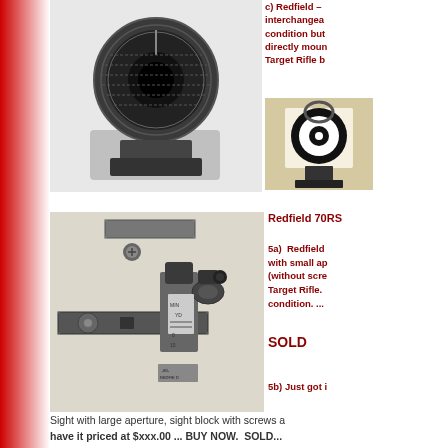[Figure (photo): Close-up photo of a metal rifle sight component, cylindrical with knurled ring, on white background]
c) Redfield – interchangeable condition but directly moun Target Rifle b
[Figure (photo): Small photo of a target sight with bullseye aperture mounted on a stand]
[Figure (photo): Photo of Redfield 70RS rear sight components disassembled on white background, showing sight base, adjustment screws, and aperture parts]
Redfield 70RS
5a)  Redfield with small ap (without scre Target Rifle.  condition. ...
SOLD
5b) Just got i Sight with large aperture, sight block with screws a have it priced at $xxx.00 ... BUY NOW.  SOLD...